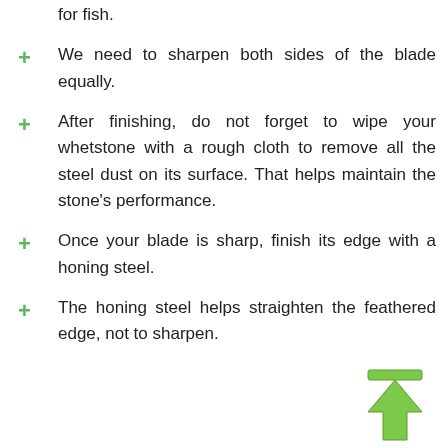for fish.
We need to sharpen both sides of the blade equally.
After finishing, do not forget to wipe your whetstone with a rough cloth to remove all the steel dust on its surface. That helps maintain the stone's performance.
Once your blade is sharp, finish its edge with a honing steel.
The honing steel helps straighten the feathered edge, not to sharpen.